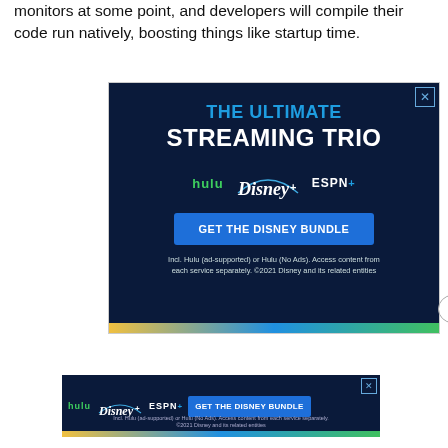monitors at some point, and developers will compile their code run natively, boosting things like startup time.
[Figure (other): Advertisement banner for Disney Bundle featuring Hulu, Disney+, and ESPN+ logos with text 'THE ULTIMATE STREAMING TRIO' and a 'GET THE DISNEY BUNDLE' button. Fine print reads: Incl. Hulu (ad-supported) or Hulu (No Ads). Access content from each service separately. ©2021 Disney and its related entities]
[Figure (other): Small advertisement banner for Disney Bundle featuring Hulu, Disney+, and ESPN+ logos with 'GET THE DISNEY BUNDLE' button and fine print.]